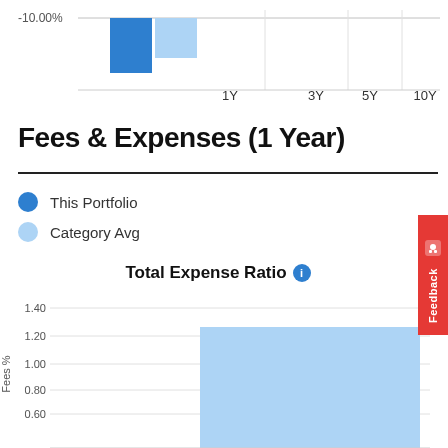[Figure (bar-chart): Performance (top portion, partial)]
Fees & Expenses (1 Year)
This Portfolio
Category Avg
[Figure (bar-chart): Total Expense Ratio]